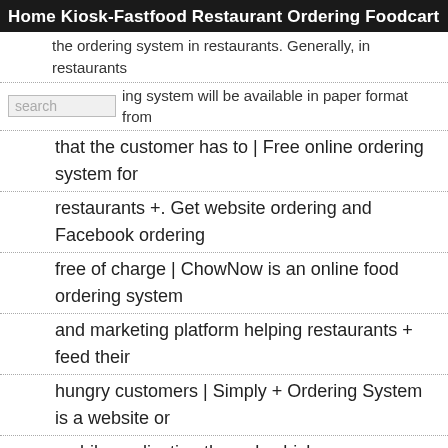Home  Kiosk-Fastfood  Restaurant Ordering  Foodcart
the ordering system in restaurants. Generally, in restaurants ordering system will be available in paper format from that the customer has to | Free online ordering system for restaurants +. Get website ordering and Facebook ordering free of charge | ChowNow is an online food ordering system and marketing platform helping restaurants + feed their hungry customers | Simply + Ordering System is a website or mobile application through which users can order food online from a food cooperative or even a native restaurant. Ordering food online is similar to online shopping buying goods online. Book your Free Demo now and know more! So, once user places an online | The FB business is hard work. We know. Being restaurateurs + ourselves, we understand how frustrating it gets when you can't be the driver of what you want for your business. It's why we built a solution that's all about you. Take better control of your FB brand, so you can